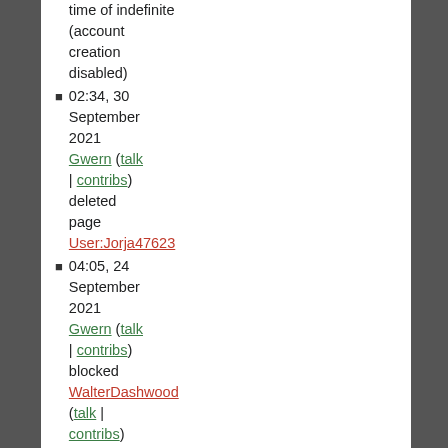time of indefinite (account creation disabled)
02:34, 30 September 2021 Gwern (talk | contribs) deleted page User:Jorja47623
04:05, 24 September 2021 Gwern (talk | contribs) blocked WalterDashwood (talk | contribs) with an